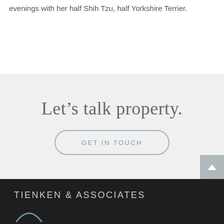evenings with her half Shih Tzu, half Yorkshire Terrier.
Let’s talk property.
GET IN TOUCH
TIENKEN & ASSOCIATES